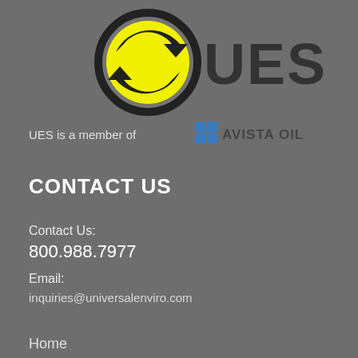[Figure (logo): UES logo with yellow recycling arrows circle and 'UES' text in dark color]
UES is a member of
[Figure (logo): Avista Oil logo with blue gear/cog icon and 'AVISTA OIL' text in dark gray]
CONTACT US
Contact Us:
800.988.7977
Email:
inquiries@universalenviro.com
Home